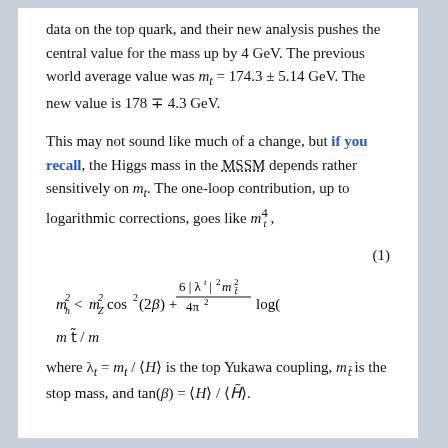data on the top quark, and their new analysis pushes the central value for the mass up by 4 GeV. The previous world average value was m_t = 174.3 ± 5.14 GeV. The new value is 178 ∓ 4.3 GeV.
This may not sound like much of a change, but if you recall, the Higgs mass in the MSSM depends rather sensitively on m_t. The one-loop contribution, up to logarithmic corrections, goes like m_t^4,
where λ_t = m_t / ⟨H⟩ is the top Yukawa coupling, m_t̃ is the stop mass, and tan(β) = ⟨H⟩/⟨H̃⟩.